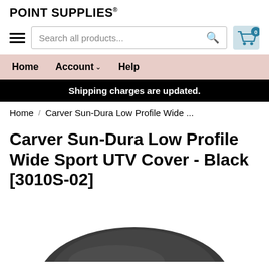POINT SUPPLIES®
[Figure (screenshot): Search bar with hamburger menu icon and shopping cart icon showing 0 items]
Home   Account ∨   Help
Shipping charges are updated.
Home / Carver Sun-Dura Low Profile Wide ...
Carver Sun-Dura Low Profile Wide Sport UTV Cover - Black [3010S-02]
[Figure (photo): Bottom portion of a black UTV cover product photo]